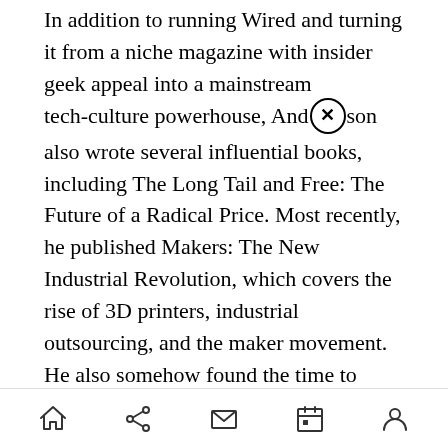In addition to running Wired and turning it from a niche magazine with insider geek appeal into a mainstream tech-culture powerhouse, Anderson also wrote several influential books, including The Long Tail and Free: The Future of a Radical Price. Most recently, he published Makers: The New Industrial Revolution, which covers the rise of 3D printers, industrial outsourcing, and the maker movement. He also somehow found the time to become one of the pioneers of do-it-yourself UAV construction and design, and maintained a vigorous speaking schedule.

Anderson, who studied physics as an undergraduate and worked for Science magazine and the Economist before Wired, has an unusually
home share mail calendar profile